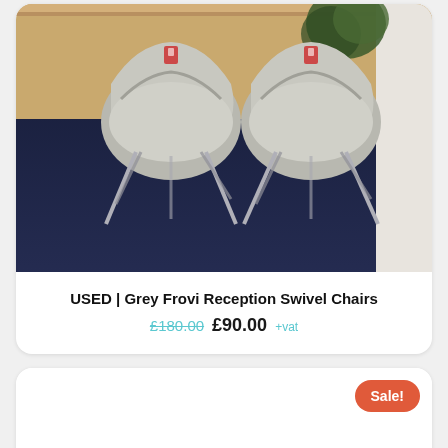[Figure (photo): Two grey Frovi reception swivel chairs with chrome legs on a dark blue carpet, with a wooden wall and plant in the background.]
USED | Grey Frovi Reception Swivel Chairs
£180.00 £90.00 +vat
[Figure (photo): Second product card with a Sale! badge, content area mostly empty/white.]